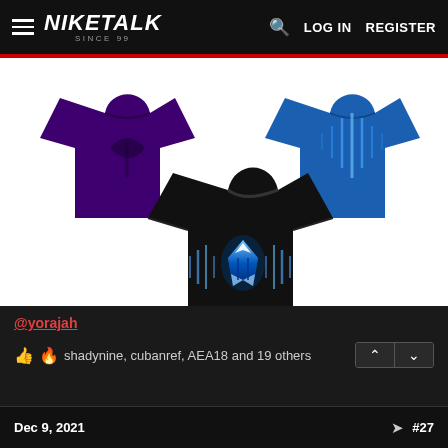NIKETALK SINCE 99 — LOG IN  REGISTER
[Figure (illustration): Three custom Nike t-shirts displayed: top-left is purple with a dark graphic, top-right is royal blue with a graphic, center-bottom is black with a glowing blue/white Kobe-style logo and soundwave design.]
@yorajah
👍 🔥 shadynine, cubanref, AEA18 and 19 others
Dec 9, 2021  #27